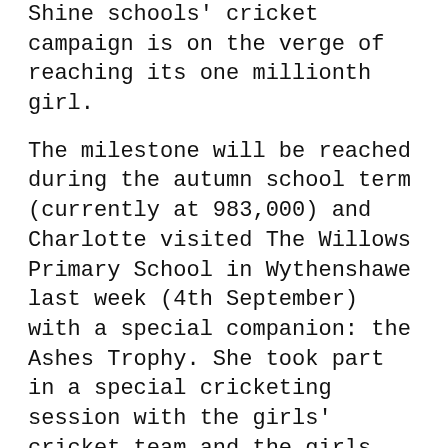Shine schools' cricket campaign is on the verge of reaching its one millionth girl.
The milestone will be reached during the autumn school term (currently at 983,000) and Charlotte visited The Willows Primary School in Wythenshawe last week (4th September) with a special companion: the Ashes Trophy. She took part in a special cricketing session with the girls' cricket team and the girls also had the chance to get their hands on the trophy.
Talking about the upcoming milestone Charlotte said, "It's fantastic that Chance to Shine is about to reach its one millionth girl. As coaching ambassadors we take real pride in inspiring young girls to take up this great game. I would have loved one of the England players to come to my school when I was a girl."
"I've won a lot of things in women's cricket but this is the best thing I have ever been involved